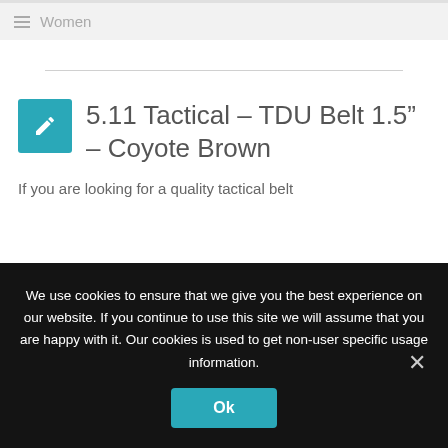Women
5.11 Tactical – TDU Belt 1.5" – Coyote Brown
If you are looking for a quality tactical belt
We use cookies to ensure that we give you the best experience on our website. If you continue to use this site we will assume that you are happy with it. Our cookies is used to get non-user specific usage information.